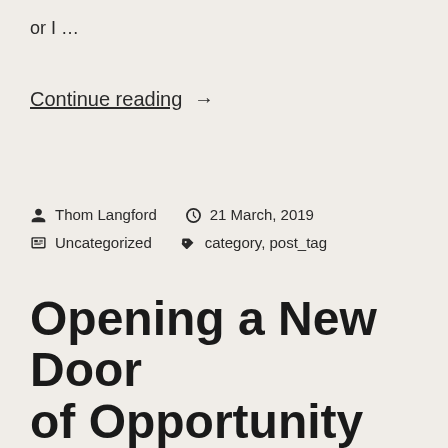or I …
Continue reading →
Thom Langford   21 March, 2019   Uncategorized   category, post_tag
Opening a New Door of Opportunity